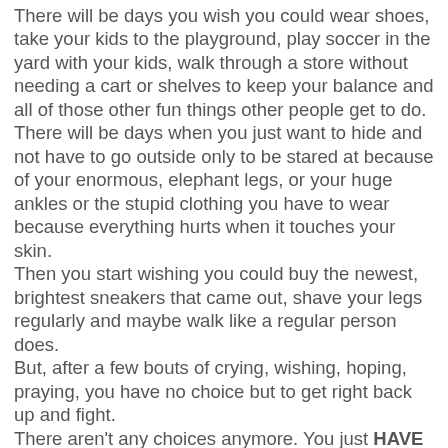There will be days you wish you could wear shoes, take your kids to the playground, play soccer in the yard with your kids, walk through a store without needing a cart or shelves to keep your balance and all of those other fun things other people get to do. There will be days when you just want to hide and not have to go outside only to be stared at because of your enormous, elephant legs, or your huge ankles or the stupid clothing you have to wear because everything hurts when it touches your skin. Then you start wishing you could buy the newest, brightest sneakers that came out, shave your legs regularly and maybe walk like a regular person does. But, after a few bouts of crying, wishing, hoping, praying, you have no choice but to get right back up and fight. There aren't any choices anymore. You just HAVE to deal with it and there isn't anything anybody can do to take it away. Just accept that this is you and count your blessings now. It makes me laugh when people ask, "Why would you get such a stupid tattoo? Why on earth would anybody want Pinhead on their back?" LOL well, after laughing and